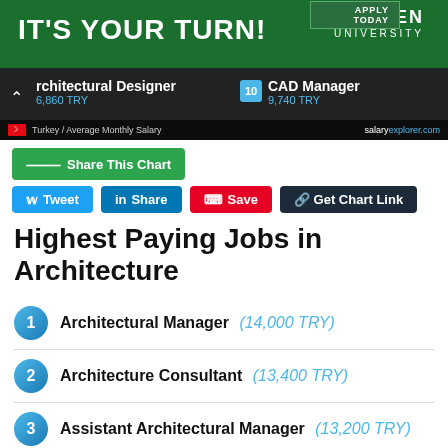[Figure (screenshot): Belhaven University advertisement banner with green background, 'IT'S YOUR TURN!' text and Apply Today button]
[Figure (screenshot): Salary explorer chart screenshot showing Architectural Designer (6,860 TRY) and CAD Manager (9,740 TRY) with Turkey average monthly salary footer and salaryexplorer.com branding]
Share This Chart
Tweet | Share | Save | Get Chart Link
Highest Paying Jobs in Architecture
1 Architectural Manager (14,000 TRY)
2 Architecture Consultant (13,400 TRY)
3 Assistant Architectural Manager (13,200 TRY)
4 Facilities and Project Manager (12,800 TRY)